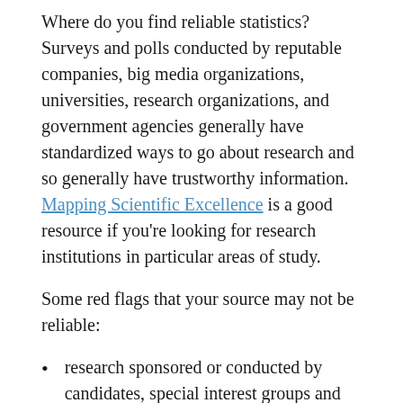Where do you find reliable statistics? Surveys and polls conducted by reputable companies, big media organizations, universities, research organizations, and government agencies generally have standardized ways to go about research and so generally have trustworthy information. Mapping Scientific Excellence is a good resource if you're looking for research institutions in particular areas of study.
Some red flags that your source may not be reliable:
research sponsored or conducted by candidates, special interest groups and companies with an obvious interest in the